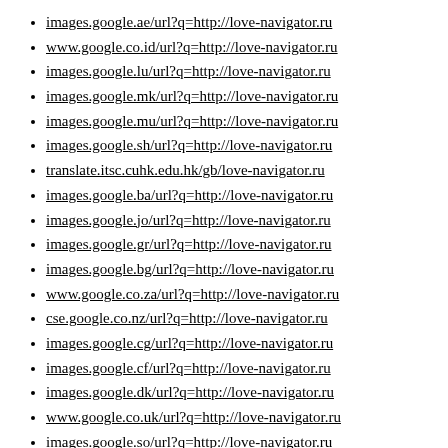images.google.ae/url?q=http://love-navigator.ru
www.google.co.id/url?q=http://love-navigator.ru
images.google.lu/url?q=http://love-navigator.ru
images.google.mk/url?q=http://love-navigator.ru
images.google.mu/url?q=http://love-navigator.ru
images.google.sh/url?q=http://love-navigator.ru
translate.itsc.cuhk.edu.hk/gb/love-navigator.ru
images.google.ba/url?q=http://love-navigator.ru
images.google.jo/url?q=http://love-navigator.ru
images.google.gr/url?q=http://love-navigator.ru
images.google.bg/url?q=http://love-navigator.ru
www.google.co.za/url?q=http://love-navigator.ru
cse.google.co.nz/url?q=http://love-navigator.ru
images.google.cg/url?q=http://love-navigator.ru
images.google.cf/url?q=http://love-navigator.ru
images.google.dk/url?q=http://love-navigator.ru
www.google.co.uk/url?q=http://love-navigator.ru
images.google.so/url?q=http://love-navigator.ru
images.google.iq/url?q=http://love-navigator.ru